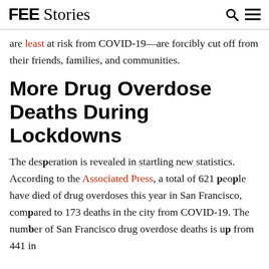FEE Stories
are least at risk from COVID-19—are forcibly cut off from their friends, families, and communities.
More Drug Overdose Deaths During Lockdowns
The desperation is revealed in startling new statistics. According to the Associated Press, a total of 621 people have died of drug overdoses this year in San Francisco, compared to 173 deaths in the city from COVID-19. The number of San Francisco drug overdose deaths is up from 441 in